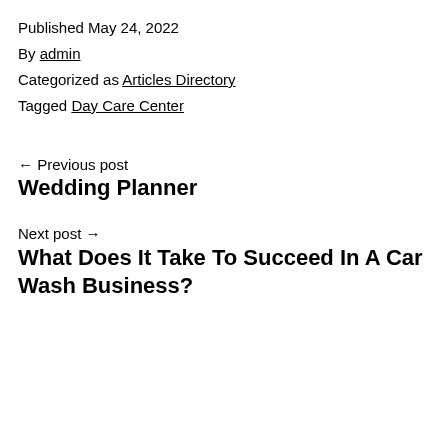Published May 24, 2022
By admin
Categorized as Articles Directory
Tagged Day Care Center
← Previous post
Wedding Planner
Next post →
What Does It Take To Succeed In A Car Wash Business?